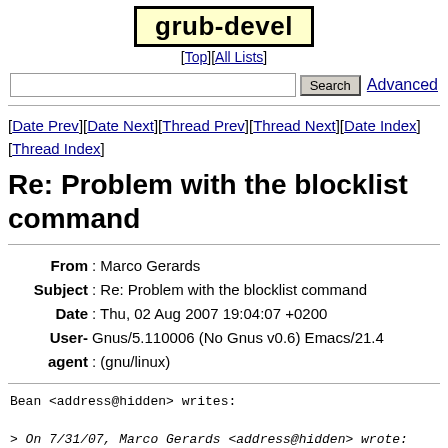grub-devel
[Top][All Lists]
[Date Prev][Date Next][Thread Prev][Thread Next][Date Index][Thread Index]
Re: Problem with the blocklist command
From: Marco Gerards
Subject: Re: Problem with the blocklist command
Date: Thu, 02 Aug 2007 19:04:07 +0200
User-agent: Gnus/5.110006 (No Gnus v0.6) Emacs/21.4 (gnu/linux)
Bean <address@hidden> writes:

> On 7/31/07, Marco Gerards <address@hidden> wrote:
>> Yes, I was afraid of that...  Can you make a patch+cha
>> so it can be fixed in CVS?
>
> Ok, i basicly change read_hook in grub_disk and grub_f: